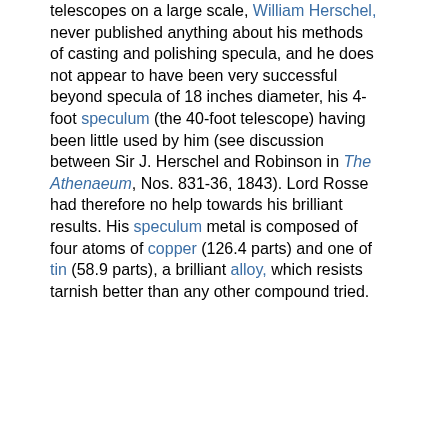telescopes on a large scale, William Herschel, never published anything about his methods of casting and polishing specula, and he does not appear to have been very successful beyond specula of 18 inches diameter, his 4-foot speculum (the 40-foot telescope) having been little used by him (see discussion between Sir J. Herschel and Robinson in The Athenaeum, Nos. 831-36, 1843). Lord Rosse had therefore no help towards his brilliant results. His speculum metal is composed of four atoms of copper (126.4 parts) and one of tin (58.9 parts), a brilliant alloy, which resists tarnish better than any other compound tried.